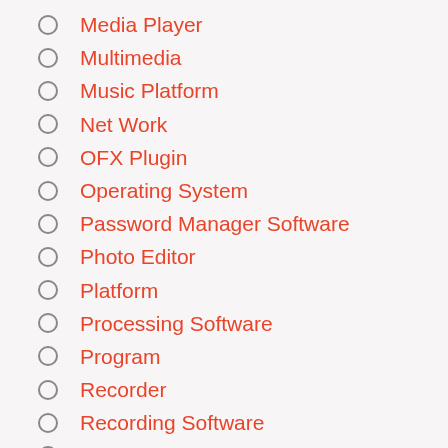Media Player
Multimedia
Music Platform
Net Work
OFX Plugin
Operating System
Password Manager Software
Photo Editor
Platform
Processing Software
Program
Recorder
Recording Software
scanner
Screen Reorder